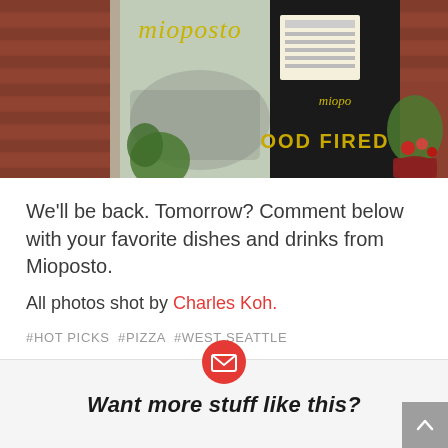[Figure (photo): Exterior photo of Mioposto restaurant showing brick wall, glass windows with 'mioposto' logo in gold text, a black sign reading 'WOOD FIRED', potted plants, and street scene reflected in windows.]
We'll be back. Tomorrow? Comment below with your favorite dishes and drinks from Mioposto.
All photos shot by Charles Koh.
#HOT PICKS  #PIZZA  #WEST SEATTLE
[Figure (infographic): Newsletter signup section with red circular email icon and bold italic heading 'Want more stuff like this?' on a light gray background. A gray scroll-to-top button is in the bottom right corner.]
Want more stuff like this?